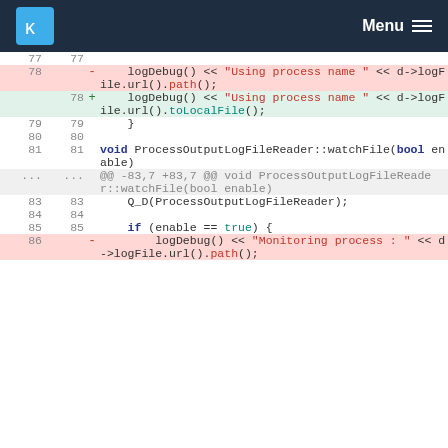KDE Menu
[Figure (screenshot): Code diff view showing changes to a C++ file. Line 78 shows deletion of logDebug() << "Using process name " << d->logFile.url().path(); and addition of logDebug() << "Using process name " << d->logFile.url().toLocalFile();. Lines 79-85 show unchanged code. Line 86 shows deletion of logDebug() << "Monitoring process : " << d->logFile.url().path();]